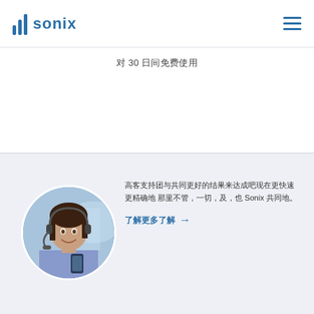Sonix logo and navigation
대한 30 일간무료이용
[Figure (photo): Woman wearing a headset and holding a phone, smiling, circular cropped photo]
고객지원팀과함께더나은결과를달성하세요이제더빠르고 더정확하게 그 어디서나, 언제, 어디서, 그 Sonix 함께하세요.
자세히알아보기 →